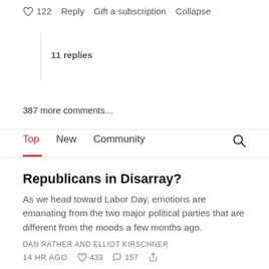♡ 122  Reply  Gift a subscription  Collapse
11 replies
387 more comments…
Top  New  Community
Republicans in Disarray?
As we head toward Labor Day, emotions are emanating from the two major political parties that are different from the moods a few months ago.
DAN RATHER AND ELLIOT KIRSCHNER
14 HR AGO  ♡ 433  157
Again